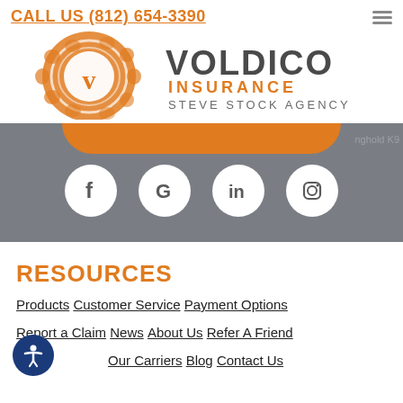CALL US (812) 654-3390
[Figure (logo): Voldico Insurance Steve Stock Agency logo — orange wax seal with V, next to text VOLDICO INSURANCE STEVE STOCK AGENCY]
[Figure (infographic): Orange pill-shaped banner at top of gray section, with four white circular social media icons below: Facebook (f), Google (G), LinkedIn (in), Instagram (camera icon)]
RESOURCES
Products
Customer Service
Payment Options
Report a Claim
News
About Us
Refer A Friend
Our Carriers
Blog
Contact Us